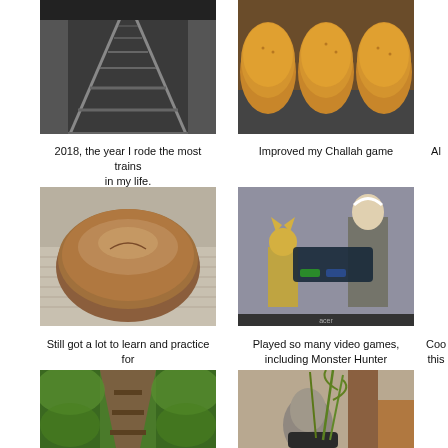[Figure (photo): Train tracks at a station, dark perspective shot]
2018, the year I rode the most trains in my life.
[Figure (photo): Golden-brown baked rolls/challah bread on a tray]
Improved my Challah game
Al...
[Figure (photo): Round rustic bread loaf on a cloth]
Still got a lot to learn and practice for rustic breads.
[Figure (photo): Video game screenshot showing Monster Hunter characters on Acer monitor]
Played so many video games, including Monster Hunter
Coo... this...
[Figure (photo): Lush green forest path with wooden steps]
[Figure (photo): A plant in a pot next to a wooden stool]